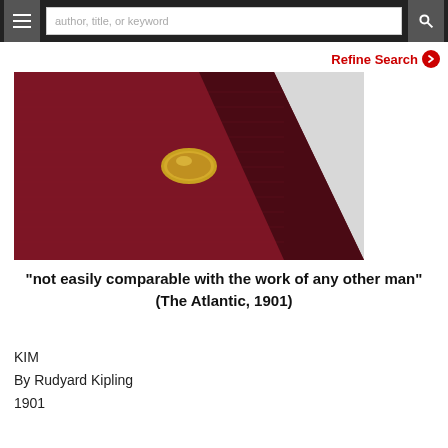author, title, or keyword
Refine Search
[Figure (photo): Close-up photograph of a deep red cloth-bound book spine or cover with a small gold oval emblem/medallion visible]
"not easily comparable with the work of any other man" (The Atlantic, 1901)
KIM
By Rudyard Kipling
1901